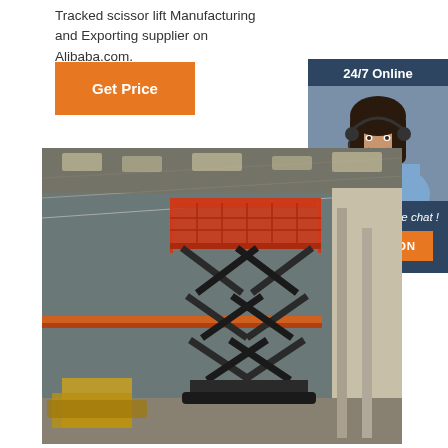Tracked scissor lift Manufacturing and Exporting supplier on Alibaba.com.
Get Price
24/7 Online
[Figure (photo): Customer service agent with headset, smiling]
Click here for free chat !
QUOTATION
[Figure (photo): Large tracked scissor lift equipment inside an industrial warehouse, with orange elevated platform and dark scissor mechanism, other machinery in background]